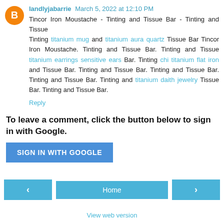landlyjabarrie March 5, 2022 at 12:10 PM
Tincor Iron Moustache - Tinting and Tissue Bar - Tinting and Tissue
Tinting titanium mug and titanium aura quartz Tissue Bar Tincor Iron Moustache. Tinting and Tissue Bar. Tinting and Tissue titanium earrings sensitive ears Bar. Tinting chi titanium flat iron and Tissue Bar. Tinting and Tissue Bar. Tinting and Tissue Bar. Tinting and Tissue Bar. Tinting and titanium daith jewelry Tissue Bar. Tinting and Tissue Bar.
Reply
To leave a comment, click the button below to sign in with Google.
SIGN IN WITH GOOGLE
Home
View web version